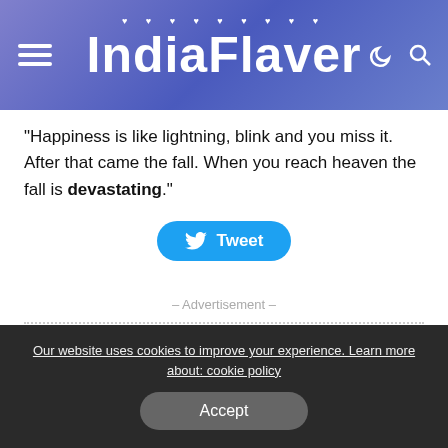IndiaFlaver
“Happiness is like lightning, blink and you miss it. After that came the fall. When you reach heaven the fall is devastating.”
[Figure (other): Tweet button with Twitter bird icon]
– Advertisement –
TAGS: # ARGENTINE ACTOR CHINO DARÍN
Our website uses cookies to improve your experience. Learn more about: cookie policy